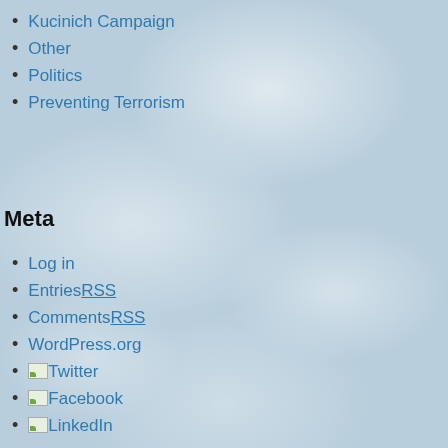Kucinich Campaign
Other
Politics
Preventing Terrorism
Meta
Log in
Entries RSS
Comments RSS
WordPress.org
Twitter
Facebook
LinkedIn